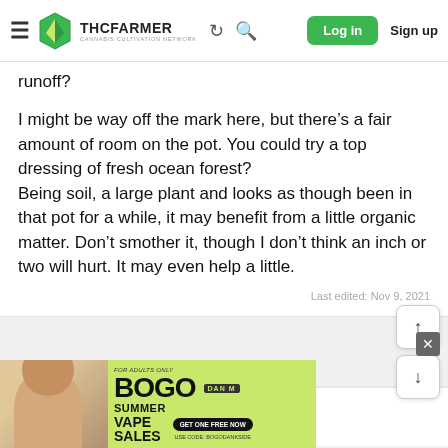THC FARMER - Cannabis Cultivation Network | Log in | Sign up
runoff?
I might be way off the mark here, but there’s a fair amount of room on the pot. You could try a top dressing of fresh ocean forest?
Being soil, a large plant and looks as though been in that pot for a while, it may benefit from a little organic matter. Don’t smother it, though I don’t think an inch or two will hurt. It may even help a little.
Last edited: Nov 9, 2021
Gurtgurt
[Figure (screenshot): BOGO Summer Vape Sales advertisement banner at bottom of page]